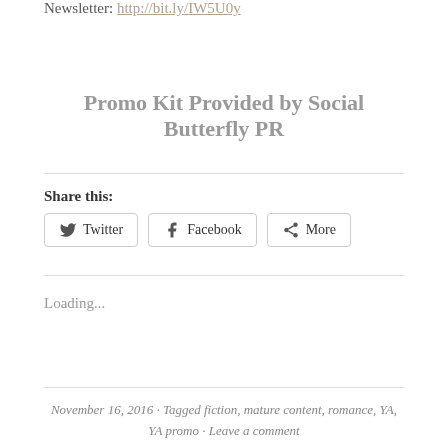Newsletter: http://bit.ly/IW5U0y
Promo Kit Provided by Social Butterfly PR
Share this:
Twitter  Facebook  More
Loading...
November 16, 2016 · Tagged fiction, mature content, romance, YA, YA promo · Leave a comment